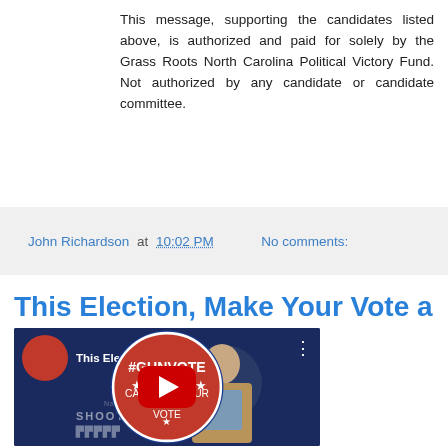This message, supporting the candidates listed above, is authorized and paid for solely by the Grass Roots North Carolina Political Victory Fund. Not authorized by any candidate or candidate committee.
John Richardson at 10:02 PM   No comments:
This Election, Make Your Vote a #GUNVOTE!
[Figure (screenshot): YouTube video thumbnail showing a man in a suit in front of a blue background with National Shooting Sports text, with a #GUNVOTE badge logo and video title 'This Election, Mak...', a red play button overlay]